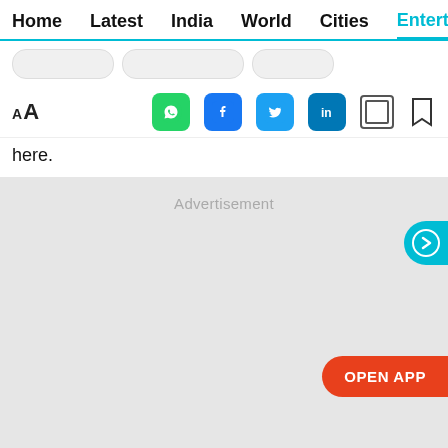Home  Latest  India  World  Cities  Entertainment
here.
[Figure (screenshot): Advertisement placeholder area with 'OPEN APP' button and a teal circular next arrow button]